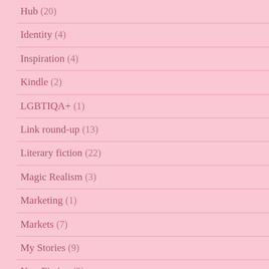Hub (20)
Identity (4)
Inspiration (4)
Kindle (2)
LGBTIQA+ (1)
Link round-up (13)
Literary fiction (22)
Magic Realism (3)
Marketing (1)
Markets (7)
My Stories (9)
Non-Fiction (2)
Non-fiction: Archaeology (5)
Non-fiction: Art (4)
Non-fiction: Art History (5)
Non-Fiction: Biography (2)